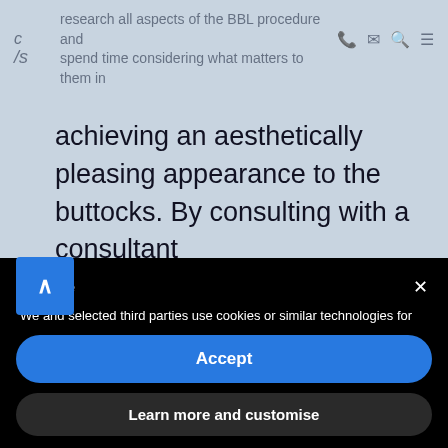research all aspects of the BBL procedure and spend time considering what matters to them in achieving an aesthetically pleasing appearance to the buttocks. By consulting with a consultant
Notice
We and selected third parties use cookies or similar technologies for technical purposes and, with your consent, for other purposes as specified in the cookie policy. Denying consent may make related features unavailable. You can consent to the use of such technologies by using the “Accept” button or by closing this notice.
Accept
Learn more and customise